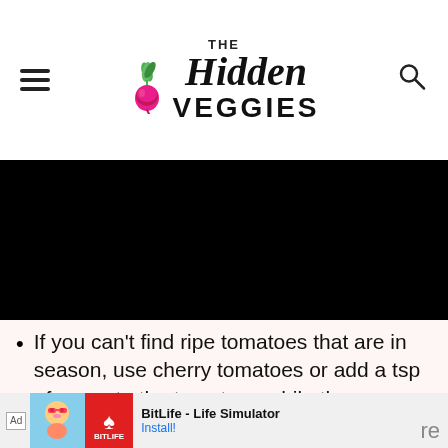The Hidden Veggies
[Figure (photo): Black image area (content not visible)]
If you can't find ripe tomatoes that are in season, use cherry tomatoes or add a tsp of sugar to the tomatoes while they are sauteing.
Allow the tomato broth, beans, and
[Figure (screenshot): Ad banner: BitLife - Life Simulator game advertisement with Install button]